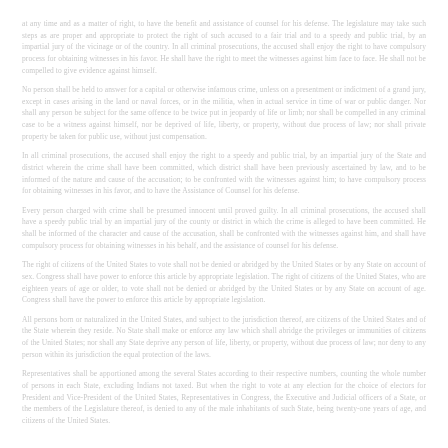at any time and as a matter of right, to have the benefit and assistance of counsel for his defense. The legislature may take such steps as are proper and appropriate to protect the right of such accused to a fair trial and to a speedy and public trial, by an impartial jury of the vicinage or of the country. In all criminal prosecutions, the accused shall enjoy the right to have compulsory process for obtaining witnesses in his favor. He shall have the right to meet the witnesses against him face to face. He shall not be compelled to give evidence against himself.
No person shall be held to answer for a capital or otherwise infamous crime, unless on a presentment or indictment of a grand jury, except in cases arising in the land or naval forces, or in the militia, when in actual service in time of war or public danger. Nor shall any person be subject for the same offence to be twice put in jeopardy of life or limb; nor shall be compelled in any criminal case to be a witness against himself, nor be deprived of life, liberty, or property, without due process of law; nor shall private property be taken for public use, without just compensation.
In all criminal prosecutions, the accused shall enjoy the right to a speedy and public trial, by an impartial jury of the State and district wherein the crime shall have been committed, which district shall have been previously ascertained by law, and to be informed of the nature and cause of the accusation; to be confronted with the witnesses against him; to have compulsory process for obtaining witnesses in his favor, and to have the Assistance of Counsel for his defense.
Every person charged with crime shall be presumed innocent until proved guilty. In all criminal prosecutions, the accused shall have a speedy public trial by an impartial jury of the county or district in which the crime is alleged to have been committed. He shall be informed of the character and cause of the accusation, shall be confronted with the witnesses against him, and shall have compulsory process for obtaining witnesses in his behalf, and the assistance of counsel for his defense.
The right of citizens of the United States to vote shall not be denied or abridged by the United States or by any State on account of sex. Congress shall have power to enforce this article by appropriate legislation. The right of citizens of the United States, who are eighteen years of age or older, to vote shall not be denied or abridged by the United States or by any State on account of age. Congress shall have the power to enforce this article by appropriate legislation.
All persons born or naturalized in the United States, and subject to the jurisdiction thereof, are citizens of the United States and of the State wherein they reside. No State shall make or enforce any law which shall abridge the privileges or immunities of citizens of the United States; nor shall any State deprive any person of life, liberty, or property, without due process of law; nor deny to any person within its jurisdiction the equal protection of the laws.
Representatives shall be apportioned among the several States according to their respective numbers, counting the whole number of persons in each State, excluding Indians not taxed. But when the right to vote at any election for the choice of electors for President and Vice-President of the United States, Representatives in Congress, the Executive and Judicial officers of a State, or the members of the Legislature thereof, is denied to any of the male inhabitants of such State, being twenty-one years of age, and citizens of the United States.